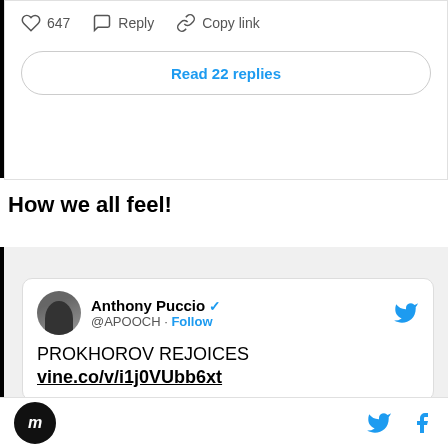647   Reply   Copy link
Read 22 replies
How we all feel!
[Figure (screenshot): Embedded tweet from @APOOCH (Anthony Puccio) with verified badge, reading: PROKHOROV REJOICES vine.co/v/i1j0VUbb6xt]
SB Nation logo, Twitter and Facebook icons